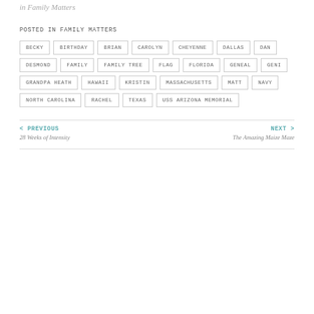in Family Matters
POSTED IN FAMILY MATTERS
BECKY
BIRTHDAY
BRIAN
CAROLYN
CHEYENNE
DALLAS
DAN
DESMOND
FAMILY
FAMILY TREE
FLAG
FLORIDA
GENEAL
GENI
GRANDPA HEATH
HAWAII
KRISTIN
MASSACHUSETTS
MATT
NAVY
NORTH CAROLINA
RACHEL
TEXAS
USS ARIZONA MEMORIAL
< PREVIOUS 28 Weeks of Intensity | NEXT > The Amazing Maize Maze